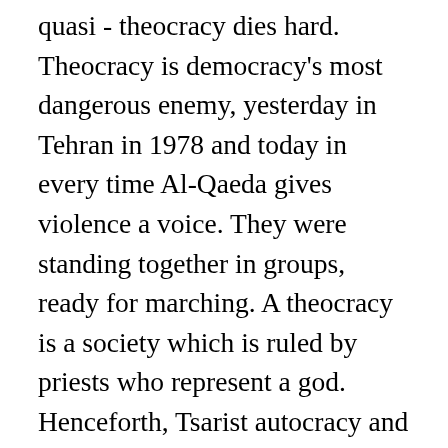quasi - theocracy dies hard. Theocracy is democracy's most dangerous enemy, yesterday in Tehran in 1978 and today in every time Al-Qaeda gives violence a voice. They were standing together in groups, ready for marching. A theocracy is a society which is ruled by priests who represent a god. Henceforth, Tsarist autocracy and despotism would lie at the heart of the Russian state. What does the South African term gogga mean? It represented an extreme example of a theocracy - of a body politic organised essentially around religious principles. Definition of Technocracy. In many science fiction novels, the world is ruled by a technocracy where scientists and technology